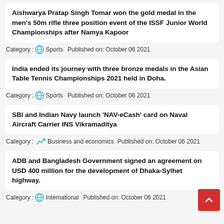Aishwarya Pratap Singh Tomar won the gold medal in the men's 50m rifle three position event of the ISSF Junior World Championships after Namya Kapoor
Category : Sports   Published on: October 06 2021
India ended its journey with three bronze medals in the Asian Table Tennis Championships 2021 held in Doha.
Category : Sports   Published on: October 06 2021
SBI and Indian Navy launch 'NAV-eCash' card on Naval Aircraft Carrier INS Vikramaditya
Category : Business and economics   Published on: October 06 2021
ADB and Bangladesh Government signed an agreement on USD 400 million for the development of Dhaka-Sylhet highway.
Category : International   Published on: October 06 2021